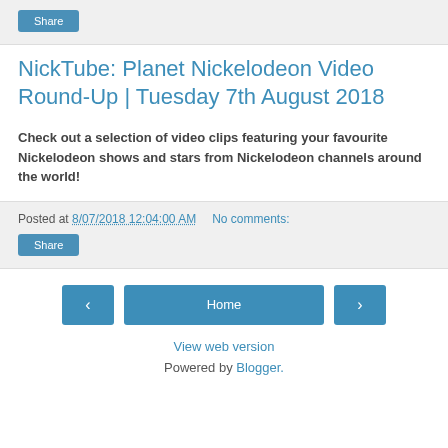Share
NickTube: Planet Nickelodeon Video Round-Up | Tuesday 7th August 2018
Check out a selection of video clips featuring your favourite Nickelodeon shows and stars from Nickelodeon channels around the world!
Posted at 8/07/2018 12:04:00 AM   No comments:
Share
Home
View web version
Powered by Blogger.